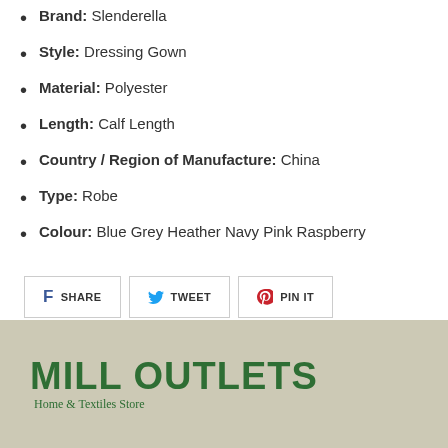Brand: Slenderella
Style: Dressing Gown
Material: Polyester
Length: Calf Length
Country / Region of Manufacture: China
Type: Robe
Colour: Blue Grey Heather Navy Pink Raspberry
SHARE  TWEET  PIN IT
[Figure (logo): Mill Outlets Home & Textiles Store logo on beige/tan background]